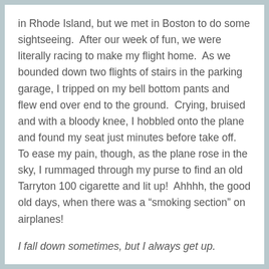in Rhode Island, but we met in Boston to do some sightseeing.  After our week of fun, we were literally racing to make my flight home.  As we bounded down two flights of stairs in the parking garage, I tripped on my bell bottom pants and flew end over end to the ground.  Crying, bruised and with a bloody knee, I hobbled onto the plane and found my seat just minutes before take off.  To ease my pain, though, as the plane rose in the sky, I rummaged through my purse to find an old Tarryton 100 cigarette and lit up!  Ahhhh, the good old days, when there was a “smoking section” on airplanes!
I fall down sometimes, but I always get up.
Once, in Ruidoso, New Mexico, I sprang out of the car, after a 30-minute monologue about the beauty of the